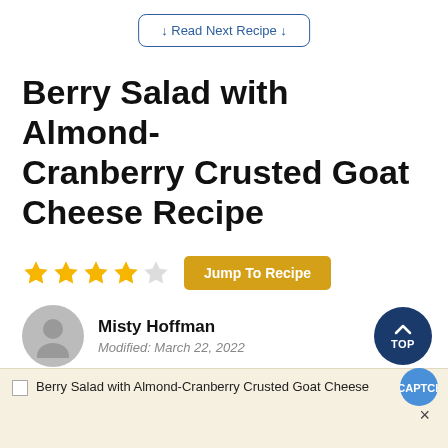↓ Read Next Recipe ↓
Berry Salad with Almond-Cranberry Crusted Goat Cheese Recipe
★★★★☆ Jump To Recipe
Misty Hoffman
Modified: March 22, 2022
Berry Salad with Almond-Cranberry Crusted Goat Cheese